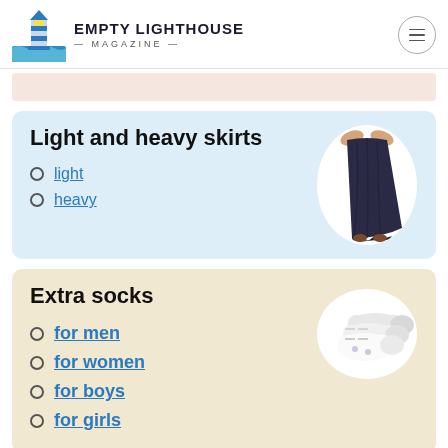Empty Lighthouse Magazine
Light and heavy skirts
light
heavy
[Figure (photo): A dark navy maxi skirt held up by hands, shown on white oval background]
Extra socks
for men
for women
for boys
for girls
[Figure (photo): Multiple white ankle socks bundled together on oval white background]